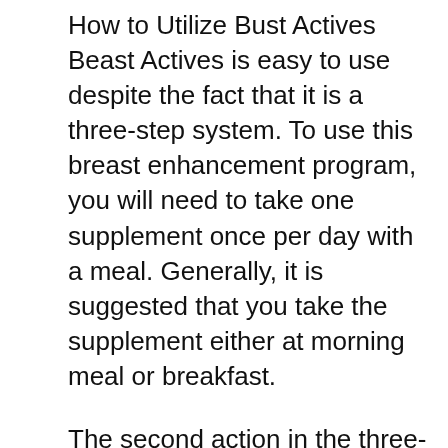How to Utilize Bust Actives
Beast Actives is easy to use despite the fact that it is a three-step system. To use this breast enhancement program, you will need to take one supplement once per day with a meal. Generally, it is suggested that you take the supplement either at morning meal or breakfast.
The second action in the three-step program is to use the lotion to your breasts. This step needs to be done after you take a hot shower and also before bed. After you shower, your pores are open as well as will take in the cream much easier than if your pores are shut. To use the cream, place a percentage in your hand as well as rub right into your breast using a round clockwise